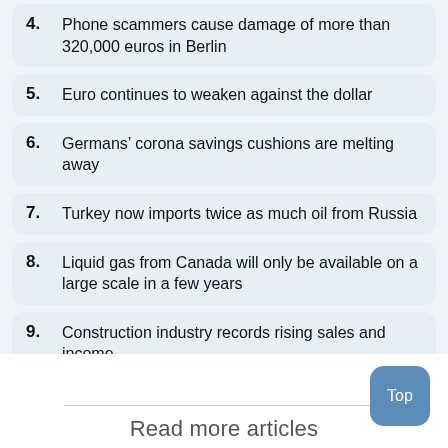4. Phone scammers cause damage of more than 320,000 euros in Berlin
5. Euro continues to weaken against the dollar
6. Germans’ corona savings cushions are melting away
7. Turkey now imports twice as much oil from Russia
8. Liquid gas from Canada will only be available on a large scale in a few years
9. Construction industry records rising sales and income
10. Berlin has more students than ever before
Read more articles